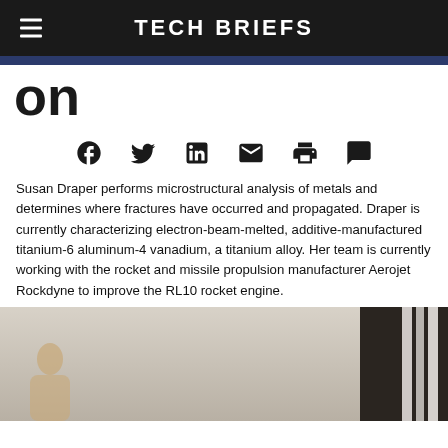Tech Briefs
on
[Figure (other): Social media sharing icons: Facebook, Twitter, LinkedIn, Email, Print, Comment]
Susan Draper performs microstructural analysis of metals and determines where fractures have occurred and propagated. Draper is currently characterizing electron-beam-melted, additive-manufactured titanium-6 aluminum-4 vanadium, a titanium alloy. Her team is currently working with the rocket and missile propulsion manufacturer Aerojet Rockdyne to improve the RL10 rocket engine.
[Figure (photo): Partial photo of a person with blonde hair, with binders/books visible on the right side against a dark background]